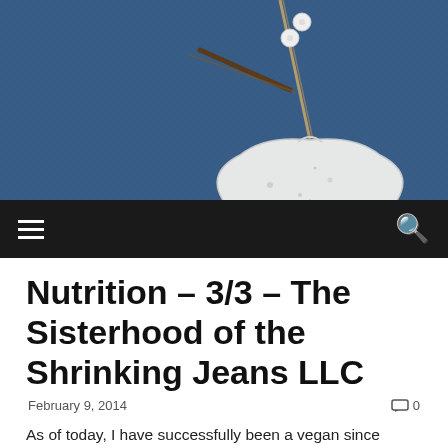[Figure (photo): Header photo showing denim fabric background with a white heart-shaped wooden tag hanging from a rope with wooden beads.]
Nutrition – 3/3 – The Sisterhood of the Shrinking Jeans LLC
February 9, 2014   0
As of today, I have successfully been a vegan since March 11. That's about 5 weeks, people! I have been diligent and faithful with minor unintentional slip-ups. And guess what? I survived! It